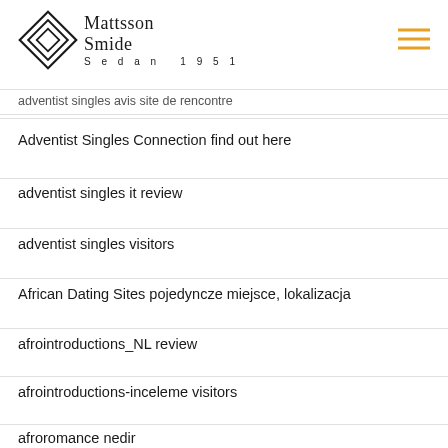Mattsson Smide | Sedan 1951
adventist singles avis site de rencontre
Adventist Singles Connection find out here
adventist singles it review
adventist singles visitors
African Dating Sites pojedyncze miejsce, lokalizacja
afrointroductions_NL review
afrointroductions-inceleme visitors
afroromance nedir